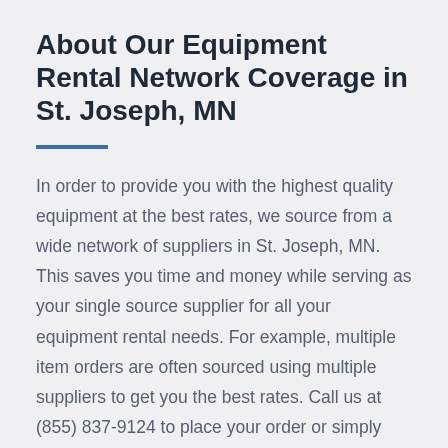About Our Equipment Rental Network Coverage in St. Joseph, MN
In order to provide you with the highest quality equipment at the best rates, we source from a wide network of suppliers in St. Joseph, MN. This saves you time and money while serving as your single source supplier for all your equipment rental needs. For example, multiple item orders are often sourced using multiple suppliers to get you the best rates. Call us at (855) 837-9124 to place your order or simply book online.